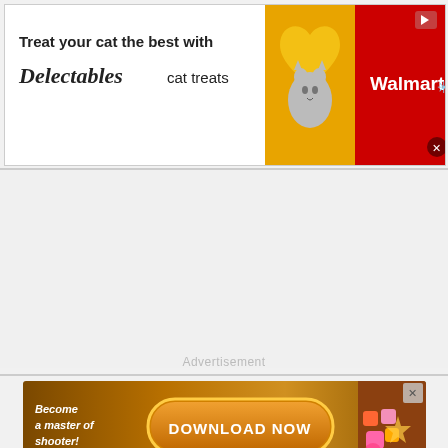[Figure (advertisement): Walmart/Delectables cat treats banner ad. Text: 'Treat your cat the best with Delectables cat treats' on white background, cat photo in yellow heart shape, Walmart logo on red background.]
[Figure (advertisement): Mobile game ad on golden/brown background. Text: 'Become a master of shooter!' with orange 'DOWNLOAD NOW' button and game screenshot on right.]
Advertisement
[Figure (advertisement): 1-800-Flowers.com ad. Logo on left, text 'Now in the Plant Shop / Fresh picks for summer', plant photo, 'SEE WHAT'S NEW' button.]